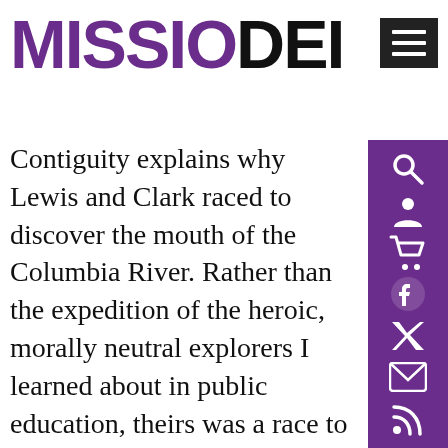MISSIO DEI
Contiguity explains why Lewis and Clark raced to discover the mouth of the Columbia River. Rather than the expedition of the heroic, morally neutral explorers I learned about in public education, theirs was a race to take the Northwest.[27] Through contiguity, the discovery of the mouth of a river created a claim over the entire drainage system of the river and adjacent coast.[28] At the heart of the practice of the Doctrine of Discovery, then, was watershed conquest, as exemplified in the seizure of the Louisiana Territory (the entire western drainage system of the Mississippi) and also Oregon country (the drainage system of the Columbia River).[29]